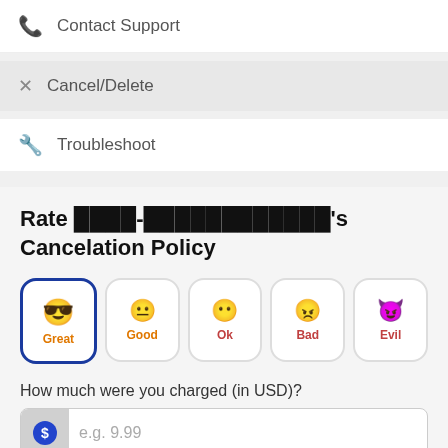Contact Support
Cancel/Delete
Troubleshoot
Rate ████-████████████'s Cancelation Policy
[Figure (infographic): Rating buttons: Great (selected, orange smiley with sunglasses), Good (orange neutral face), Ok (red dot eyes), Bad (red dot eyes), Evil (red devil eyes)]
How much were you charged (in USD)?
e.g. 9.99
How often were you charged?